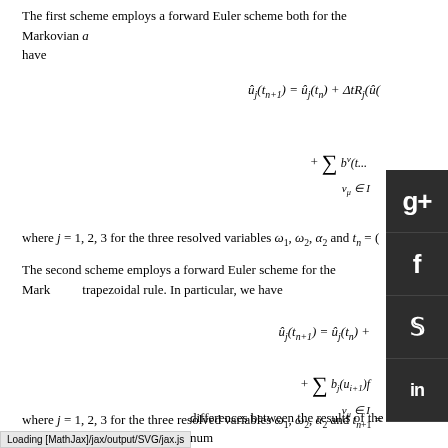The first scheme employs a forward Euler scheme both for the Markovian and have
where j = 1, 2, 3 for the three resolved variables ω₁, ω₂, α₂ and tₙ = (
The second scheme employs a forward Euler scheme for the Markovian trapezoidal rule. In particular, we have
where j = 1, 2, 3 for the three resolved variables ω₁, ω₂, α₂ and tₙ₊₁ = nΔt.
Loading [MathJax]/jax/output/SVG/jax.js differences between the results of the two numerical